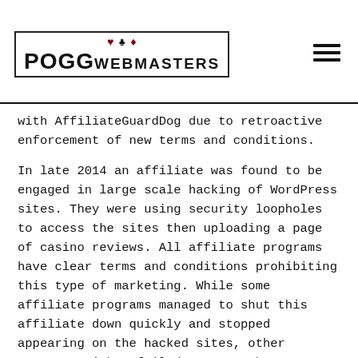POGG WEBMASTERS
with AffiliateGuardDog due to retroactive enforcement of new terms and conditions.
In late 2014 an affiliate was found to be engaged in large scale hacking of WordPress sites. They were using security loopholes to access the sites then uploading a page of casino reviews. All affiliate programs have clear terms and conditions prohibiting this type of marketing. While some affiliate programs managed to shut this affiliate down quickly and stopped appearing on the hacked sites, other programs either failed to stop the affiliate from opening new accounts or simply didn't shut down the original accounts.
Some of the brands being operated by the extended AffClub Affiliates group continued to appear on these sites for many months after they were made aware of